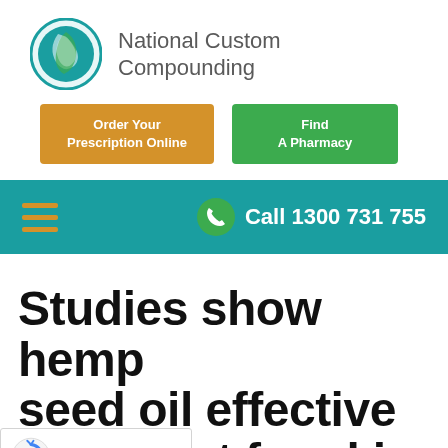[Figure (logo): National Custom Compounding logo: circular teal/green swirl icon with text 'National Custom Compounding' in grey]
[Figure (screenshot): Two call-to-action buttons: orange 'Order Your Prescription Online' and green 'Find A Pharmacy']
[Figure (screenshot): Teal navigation bar with orange hamburger menu icon on left and green phone icon with 'Call 1300 731 755' text on right]
Studies show hemp seed oil effective treatment for skin